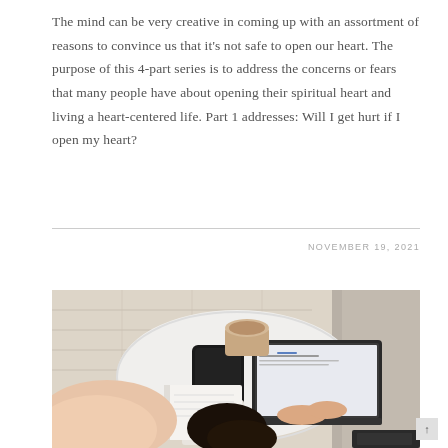The mind can be very creative in coming up with an assortment of reasons to convince us that it's not safe to open our heart. The purpose of this 4-part series is to address the concerns or fears that many people have about opening their spiritual heart and living a heart-centered life. Part 1 addresses: Will I get hurt if I open my heart?
NOVEMBER 19, 2021
[Figure (photo): Overhead aerial view of a woman with dark hair sitting on the floor, leaning over a white coffee table, typing on a laptop. On the table there is also a phone, a notebook, and a coffee cup. Light wood flooring and a rug are visible.]